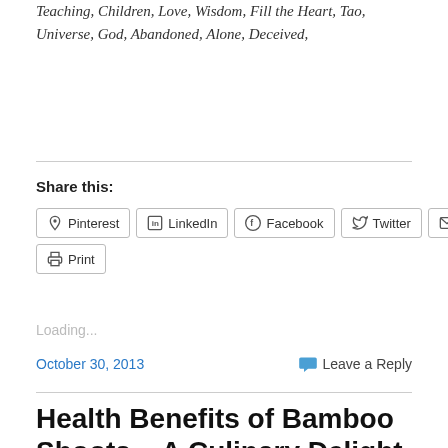Teaching, Children, Love, Wisdom, Fill the Heart, Tao, Universe, God, Abandoned, Alone, Deceived,
Share this:
Pinterest  LinkedIn  Facebook  Twitter  Email  Print
Loading...
October 30, 2013    Leave a Reply
Health Benefits of Bamboo Shoots – A Culinary Delight